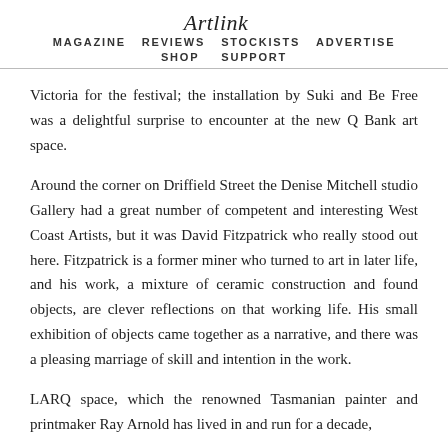Artlink  MAGAZINE  REVIEWS  STOCKISTS  ADVERTISE  SHOP  SUPPORT
Victoria for the festival; the installation by Suki and Be Free was a delightful surprise to encounter at the new Q Bank art space.
Around the corner on Driffield Street the Denise Mitchell studio Gallery had a great number of competent and interesting West Coast Artists, but it was David Fitzpatrick who really stood out here. Fitzpatrick is a former miner who turned to art in later life, and his work, a mixture of ceramic construction and found objects, are clever reflections on that working life. His small exhibition of objects came together as a narrative, and there was a pleasing marriage of skill and intention in the work.
LARQ space, which the renowned Tasmanian painter and printmaker Ray Arnold has lived in and run for a decade,